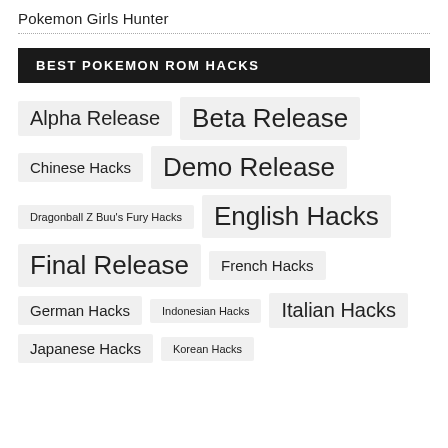Pokemon Girls Hunter
BEST POKEMON ROM HACKS
Alpha Release
Beta Release
Chinese Hacks
Demo Release
Dragonball Z Buu's Fury Hacks
English Hacks
Final Release
French Hacks
German Hacks
Indonesian Hacks
Italian Hacks
Japanese Hacks
Korean Hacks